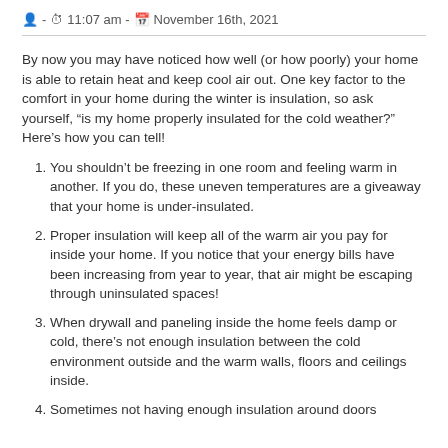- 11:07 am - November 16th, 2021
By now you may have noticed how well (or how poorly) your home is able to retain heat and keep cool air out. One key factor to the comfort in your home during the winter is insulation, so ask yourself, “is my home properly insulated for the cold weather?” Here’s how you can tell!
You shouldn’t be freezing in one room and feeling warm in another. If you do, these uneven temperatures are a giveaway that your home is under-insulated.
Proper insulation will keep all of the warm air you pay for inside your home. If you notice that your energy bills have been increasing from year to year, that air might be escaping through uninsulated spaces!
When drywall and paneling inside the home feels damp or cold, there’s not enough insulation between the cold environment outside and the warm walls, floors and ceilings inside.
Sometimes not having enough insulation around doors